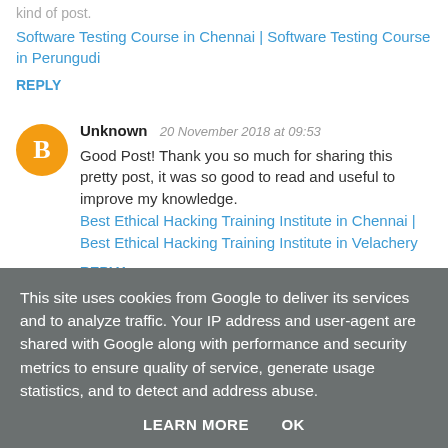kind of post.
Software Testing Course in Chennai | Software Testing Course in Perungudi
REPLY
Unknown  20 November 2018 at 09:53
Good Post! Thank you so much for sharing this pretty post, it was so good to read and useful to improve my knowledge.
Best Ethical Hacking Training Institute in Chennai | Best Ethical Hacking Training Institute in Velachery
REPLY
This site uses cookies from Google to deliver its services and to analyze traffic. Your IP address and user-agent are shared with Google along with performance and security metrics to ensure quality of service, generate usage statistics, and to detect and address abuse.
LEARN MORE    OK